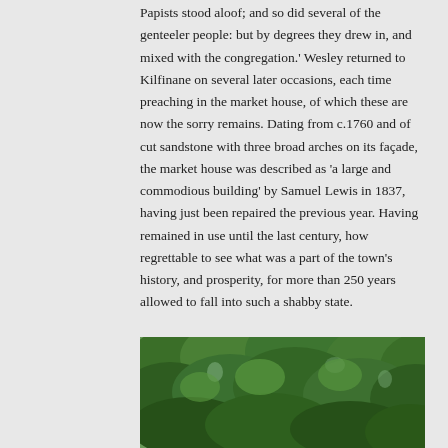Papists stood aloof; and so did several of the genteeler people: but by degrees they drew in, and mixed with the congregation.' Wesley returned to Kilfinane on several later occasions, each time preaching in the market house, of which these are now the sorry remains. Dating from c.1760 and of cut sandstone with three broad arches on its façade, the market house was described as 'a large and commodious building' by Samuel Lewis in 1837, having just been repaired the previous year. Having remained in use until the last century, how regrettable to see what was a part of the town's history, and prosperity, for more than 250 years allowed to fall into such a shabby state.
[Figure (photo): Photograph of dense green tree canopy, visible from below looking up, lush foliage filling the frame.]